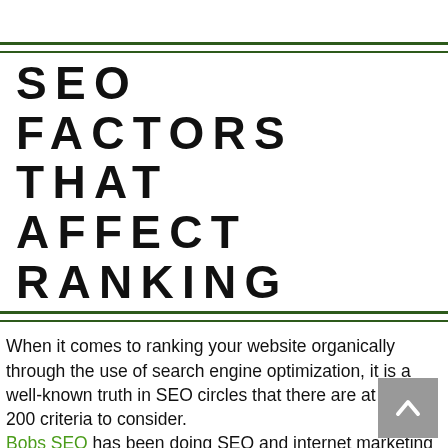SEO FACTORS THAT AFFECT RANKING
When it comes to ranking your website organically through the use of search engine optimization, it is a well-known truth in SEO circles that there are at least 200 criteria to consider. Bobs SEO has been doing SEO and internet marketing for over two decades.
Each SEO campaign should incorporate the ranking variables listed below, which I consider to be some of the most significant.